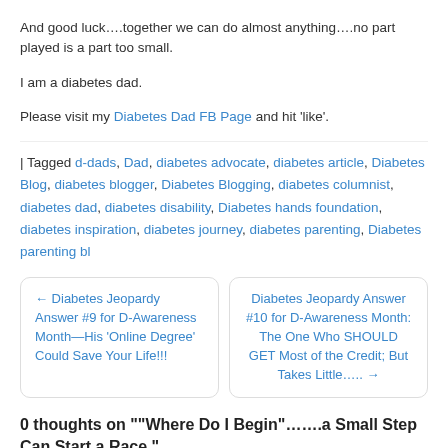And good luck….together we can do almost anything….no part played is a part too small.
I am a diabetes dad.
Please visit my Diabetes Dad FB Page and hit 'like'.
| Tagged d-dads, Dad, diabetes advocate, diabetes article, Diabetes Blog, diabetes blogger, Diabetes Blogging, diabetes columnist, diabetes dad, diabetes disability, Diabetes hands foundation, diabetes inspiration, diabetes journey, diabetes parenting, Diabetes parenting bl
← Diabetes Jeopardy Answer #9 for D-Awareness Month—His 'Online Degree' Could Save Your Life!!!
Diabetes Jeopardy Answer #10 for D-Awareness Month: The One Who SHOULD GET Most of the Credit; But Takes Little….. →
0 thoughts on "“Where Do I Begin”…….a Small Step Can Start a Race."